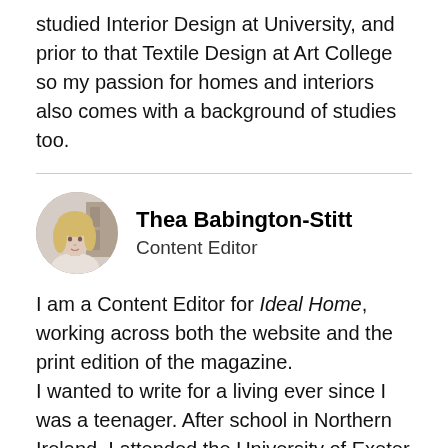studied Interior Design at University, and prior to that Textile Design at Art College so my passion for homes and interiors also comes with a background of studies too.
[Figure (photo): Circular profile photo of Thea Babington-Stitt, a woman with blonde hair]
Thea Babington-Stitt
Content Editor
I am a Content Editor for Ideal Home, working across both the website and the print edition of the magazine.
I wanted to write for a living ever since I was a teenager. After school in Northern Ireland, I attended the University of Exeter to read English Literature where I explored the possibilities of fiction writing or screenplays, but was drawn more and